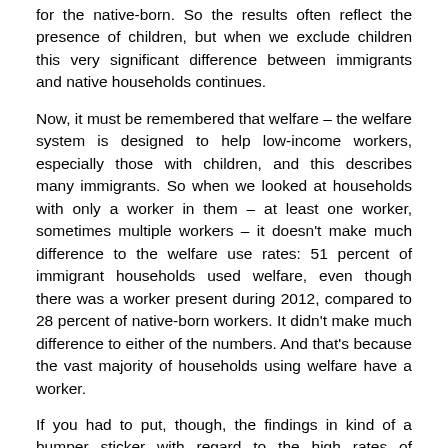for the native-born. So the results often reflect the presence of children, but when we exclude children this very significant difference between immigrants and native households continues.
Now, it must be remembered that welfare – the welfare system is designed to help low-income workers, especially those with children, and this describes many immigrants. So when we looked at households with only a worker in them – at least one worker, sometimes multiple workers – it doesn't make much difference to the welfare use rates: 51 percent of immigrant households used welfare, even though there was a worker present during 2012, compared to 28 percent of native-born workers. It didn't make much difference to either of the numbers. And that's because the vast majority of households using welfare have a worker.
If you had to put, though, the findings in kind of a bumper sticker with regard to the high rates of immigrant workers accessing these programs, there's a high cost to cheap labor might be a way to put it.
Now, this is one of the central findings – which may not surprise welfare researchers, but it may surprise members of the public – welfare and work go together. Let me just give you a quick example. A family of two children and a – and a parent, mother or father, working, and they earn some wage – if they work...